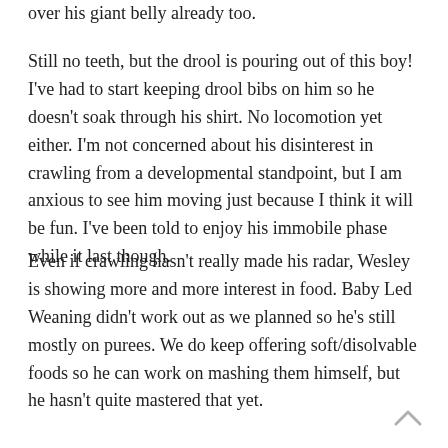over his giant belly already too.
Still no teeth, but the drool is pouring out of this boy! I've had to start keeping drool bibs on him so he doesn't soak through his shirt. No locomotion yet either. I'm not concerned about his disinterest in crawling from a developmental standpoint, but I am anxious to see him moving just because I think it will be fun. I've been told to enjoy his immobile phase while it last though.
Even if crawling hasn't really made his radar, Wesley is showing more and more interest in food. Baby Led Weaning didn't work out as we planned so he's still mostly on purees. We do keep offering soft/disolvable foods so he can work on mashing them himself, but he hasn't quite mastered that yet.